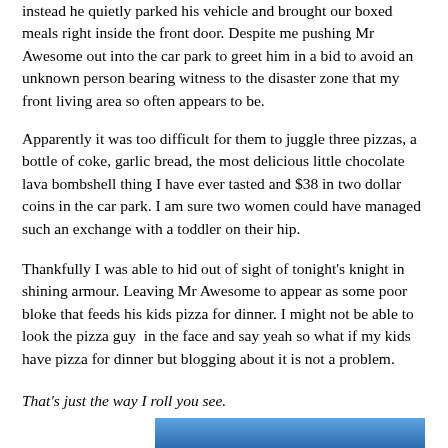instead he quietly parked his vehicle and brought our boxed meals right inside the front door. Despite me pushing Mr Awesome out into the car park to greet him in a bid to avoid an unknown person bearing witness to the disaster zone that my front living area so often appears to be.
Apparently it was too difficult for them to juggle three pizzas, a bottle of coke, garlic bread, the most delicious little chocolate lava bombshell thing I have ever tasted and $38 in two dollar coins in the car park. I am sure two women could have managed such an exchange with a toddler on their hip.
Thankfully I was able to hid out of sight of tonight's knight in shining armour. Leaving Mr Awesome to appear as some poor bloke that feeds his kids pizza for dinner. I might not be able to look the pizza guy  in the face and say yeah so what if my kids have pizza for dinner but blogging about it is not a problem.
That's just the way I roll you see.
[Figure (photo): Partial view of a blue image, likely a photo of a pizza or related food item, visible at the bottom of the page.]